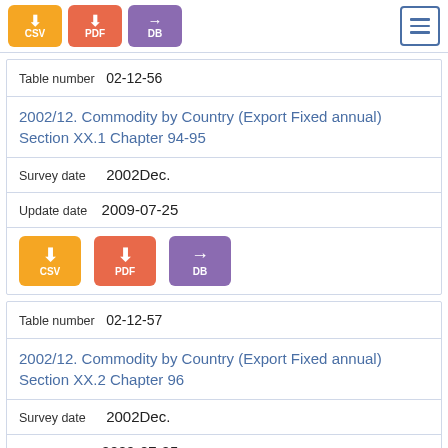[Figure (other): CSV, PDF, DB download buttons and hamburger menu icon at top]
Table number 02-12-56
2002/12. Commodity by Country (Export Fixed annual) Section XX.1 Chapter 94-95
Survey date   2002Dec.
Update date  2009-07-25
[Figure (other): CSV, PDF, DB download buttons]
Table number 02-12-57
2002/12. Commodity by Country (Export Fixed annual) Section XX.2 Chapter 96
Survey date   2002Dec.
Update date  2009-07-25